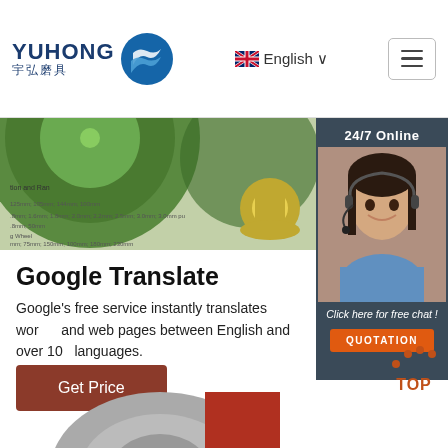[Figure (logo): Yuhong logo with blue wave icon and company name in English and Chinese]
English ∨
[Figure (illustration): Navigation menu hamburger button]
[Figure (photo): Banner showing green abrasive grinding disc and product catalog text, yellow spool on right]
[Figure (photo): 24/7 Online chat widget with customer service agent photo, Click here for free chat!, QUOTATION button]
Google Translate
Google's free service instantly translates words, and web pages between English and over 100 languages.
[Figure (illustration): Get Price button - brown/red rectangle]
[Figure (illustration): TOP scroll-to-top button with orange dots and text]
[Figure (photo): Partial bottom image of grinding disc in grey and red]